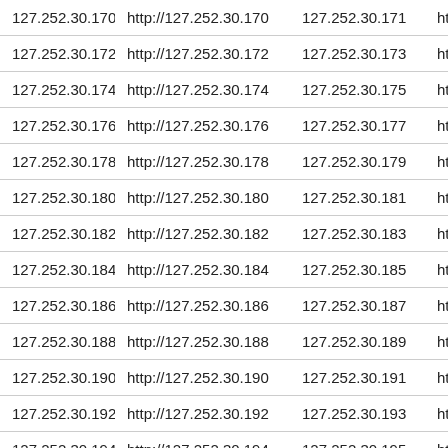| 127.252.30.170 | http://127.252.30.170 | 127.252.30.171 | http:// |
| 127.252.30.172 | http://127.252.30.172 | 127.252.30.173 | http:// |
| 127.252.30.174 | http://127.252.30.174 | 127.252.30.175 | http:// |
| 127.252.30.176 | http://127.252.30.176 | 127.252.30.177 | http:// |
| 127.252.30.178 | http://127.252.30.178 | 127.252.30.179 | http:// |
| 127.252.30.180 | http://127.252.30.180 | 127.252.30.181 | http:// |
| 127.252.30.182 | http://127.252.30.182 | 127.252.30.183 | http:// |
| 127.252.30.184 | http://127.252.30.184 | 127.252.30.185 | http:// |
| 127.252.30.186 | http://127.252.30.186 | 127.252.30.187 | http:// |
| 127.252.30.188 | http://127.252.30.188 | 127.252.30.189 | http:// |
| 127.252.30.190 | http://127.252.30.190 | 127.252.30.191 | http:// |
| 127.252.30.192 | http://127.252.30.192 | 127.252.30.193 | http:// |
| 127.252.30.194 | http://127.252.30.194 | 127.252.30.195 | http:// |